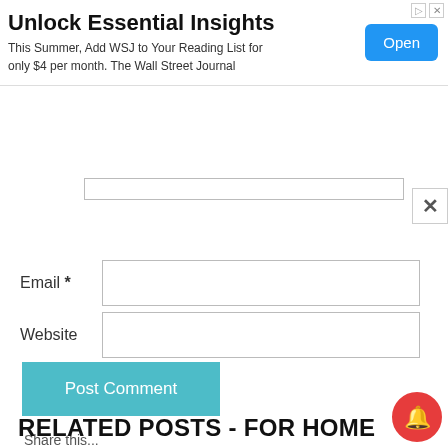[Figure (screenshot): WSJ advertisement banner with 'Unlock Essential Insights' headline, subscription text, and blue Open button]
Email *
Website
Post Comment
Share this...
[Figure (illustration): Four social media icons: Facebook (dark blue), Pinterest (red), Twitter (light blue), LinkedIn (dark blue)]
RELATED POSTS - FOR HOME